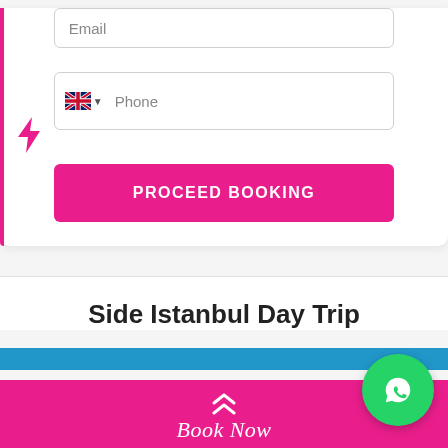[Figure (screenshot): Web form section with Email input field, UK flag phone input field with dropdown, a lightning bolt pink icon on the left side, and a pink 'PROCEED BOOKING' button]
Side Istanbul Day Trip
[Figure (screenshot): Pink bottom navigation bar with double chevron up icon and 'Book Now' text in white italic, with a green WhatsApp floating button on the right]